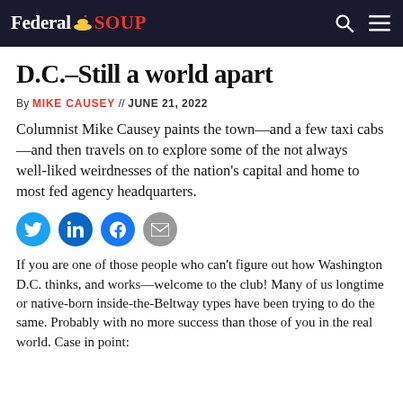Federal SOUP
D.C.–Still a world apart
By MIKE CAUSEY // JUNE 21, 2022
Columnist Mike Causey paints the town—and a few taxi cabs—and then travels on to explore some of the not always well-liked weirdnesses of the nation's capital and home to most fed agency headquarters.
[Figure (other): Social sharing icons: Twitter, LinkedIn, Facebook, Email]
If you are one of those people who can't figure out how Washington D.C. thinks, and works—welcome to the club! Many of us longtime or native-born inside-the-Beltway types have been trying to do the same. Probably with no more success than those of you in the real world. Case in point: